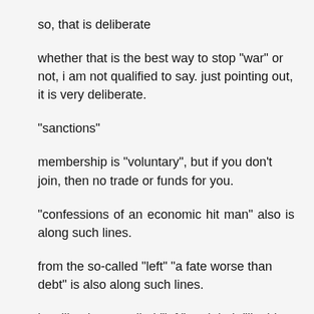so, that is deliberate
whether that is the best way to stop "war" or not, i am not qualified to say. just pointing out, it is very deliberate.
"sanctions"
membership is "voluntary", but if you don't join, then no trade or funds for you.
"confessions of an economic hit man" also is along such lines.
from the so-called "left" "a fate worse than debt" is also along such lines.
just like the so-called "left" and their "liquidate the state" strategy the so-called "right" also has a "counter-revolution" thing going where they enjoy getting countries in debt...then they can be